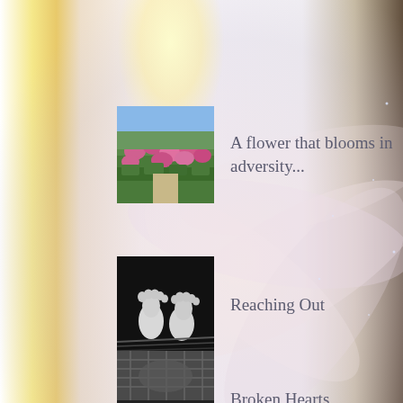[Figure (illustration): Thumbnail of pink flowers in a garden with green hedges]
A flower that blooms in adversity...
[Figure (photo): Black and white photo of a baby's tiny feet reaching up]
Reaching Out
[Figure (photo): Image of heart-shaped cookies or chocolates in a basket, golden yellow hearts]
Broken Hearts